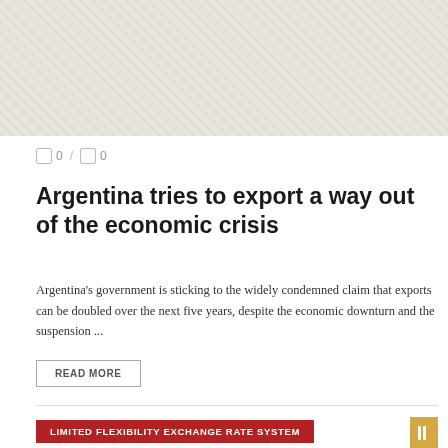[Figure (photo): Faded/muted photograph used as article header image, light beige and grey tones]
0 / 0
Argentina tries to export a way out of the economic crisis
Argentina's government is sticking to the widely condemned claim that exports can be doubled over the next five years, despite the economic downturn and the suspension ...
READ MORE
LIMITED FLEXIBILITY EXCHANGE RATE SYSTEM